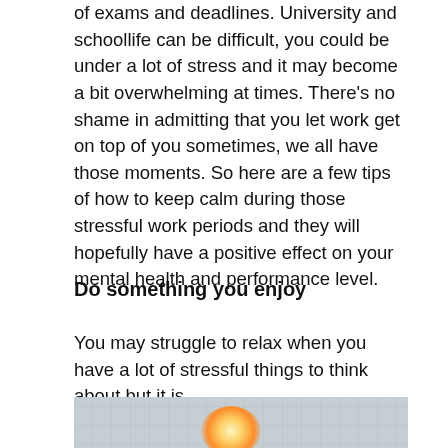of exams and deadlines. University and schoollife can be difficult, you could be under a lot of stress and it may become a bit overwhelming at times. There's no shame in admitting that you let work get on top of you sometimes, we all have those moments. So here are a few tips of how to keep calm during those stressful work periods and they will hopefully have a positive effect on your mental health and performance level.
Do something you enjoy
You may struggle to relax when you have a lot of stressful things to think about but it is
[Figure (photo): A bathtub with lit candles glowing warmly, faucet visible, tiled bathroom background — a relaxing bath scene.]